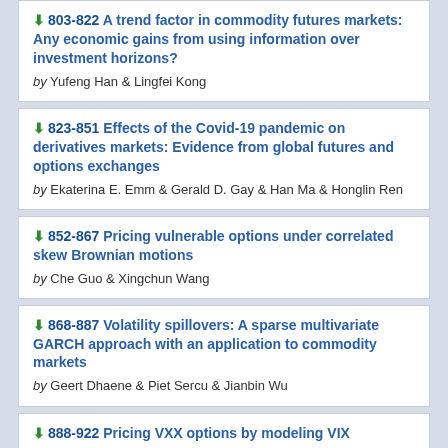803-822 A trend factor in commodity futures markets: Any economic gains from using information over investment horizons? by Yufeng Han & Lingfei Kong
823-851 Effects of the Covid-19 pandemic on derivatives markets: Evidence from global futures and options exchanges by Ekaterina E. Emm & Gerald D. Gay & Han Ma & Honglin Ren
852-867 Pricing vulnerable options under correlated skew Brownian motions by Che Guo & Xingchun Wang
868-887 Volatility spillovers: A sparse multivariate GARCH approach with an application to commodity markets by Geert Dhaene & Piet Sercu & Jianbin Wu
888-922 Pricing VXX options by modeling VIX...